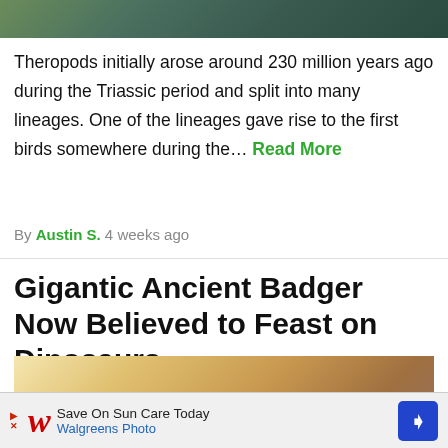[Figure (photo): Top portion of a nature/outdoor photograph, partially visible at the top of the page]
Theropods initially arose around 230 million years ago during the Triassic period and split into many lineages. One of the lineages gave rise to the first birds somewhere during the… Read More
By Austin S. 4 weeks ago
Gigantic Ancient Badger Now Believed to Feast on Dinosaurs
[Figure (photo): Partial image of an ancient badger or related creature, warm golden/brown tones]
[Figure (other): Advertisement banner: Walgreens Photo - Save On Sun Care Today]